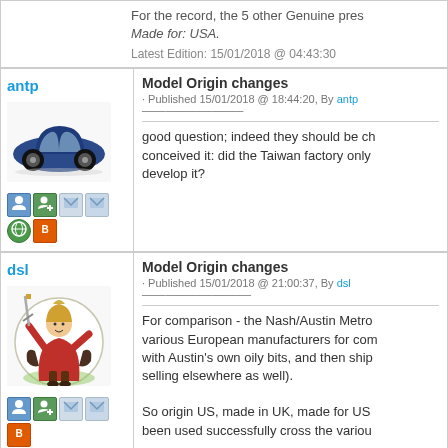For the record, the 5 other Genuine pres... Made for: USA.
Latest Edition: 15/01/2018 @ 04:43:30
antp
Model Origin changes
Published 15/01/2018 @ 18:44:20, By antp
[Figure (photo): Blue hatchback car (Peugeot 208)]
good question; indeed they should be ch... conceived it: did the Taiwan factory only... develop it?
dsl
Model Origin changes
Published 15/01/2018 @ 21:00:37, By dsl
[Figure (illustration): Cartoon medieval knight/warrior character holding a sword aloft, in a circle]
For comparison - the Nash/Austin Metro... various European manufacturers for com... with Austin's own oily bits, and then ship... selling elsewhere as well).

So origin US, made in UK, made for US... been used successfully cross the variou...